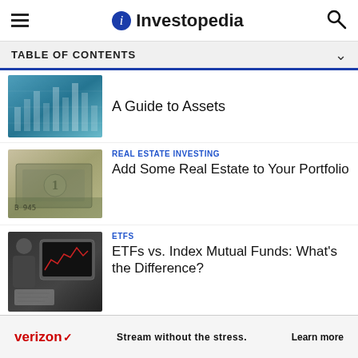Investopedia
TABLE OF CONTENTS
[Figure (photo): Financial data charts background image]
A Guide to Assets
[Figure (photo): Dollar bills and US currency close-up]
REAL ESTATE INVESTING
Add Some Real Estate to Your Portfolio
[Figure (photo): Person looking at stock charts on tablet with laptop]
ETFS
ETFs vs. Index Mutual Funds: What's the Difference?
[Figure (photo): Partially visible image at bottom]
ROTH IRA
verizon Stream without the stress. Learn more